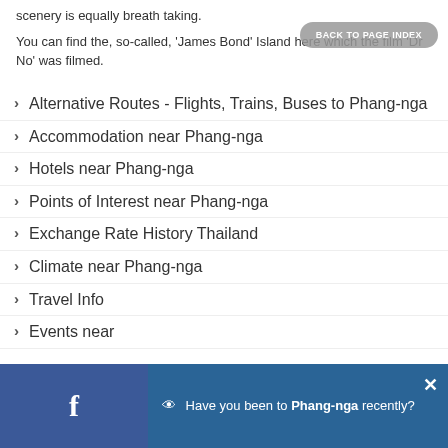scenery is equally breath taking.
You can find the, so-called, 'James Bond' Island here which the film 'Dr No' was filmed.
Alternative Routes - Flights, Trains, Buses to Phang-nga
Accommodation near Phang-nga
Hotels near Phang-nga
Points of Interest near Phang-nga
Exchange Rate History Thailand
Climate near Phang-nga
Travel Info
Events near